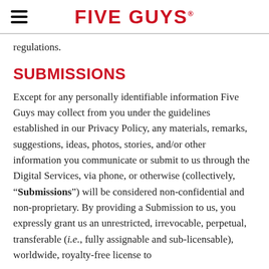FIVE GUYS
regulations.
SUBMISSIONS
Except for any personally identifiable information Five Guys may collect from you under the guidelines established in our Privacy Policy, any materials, remarks, suggestions, ideas, photos, stories, and/or other information you communicate or submit to us through the Digital Services, via phone, or otherwise (collectively, “Submissions”) will be considered non-confidential and non-proprietary. By providing a Submission to us, you expressly grant us an unrestricted, irrevocable, perpetual, transferable (i.e., fully assignable and sub-licensable), worldwide, royalty-free license to